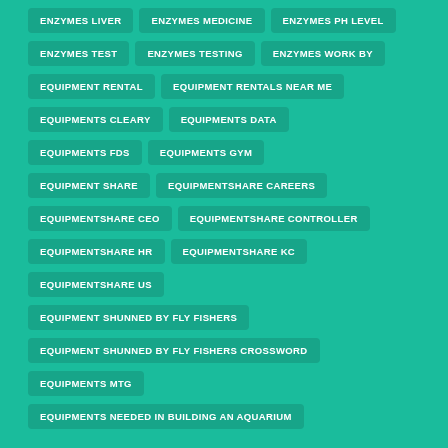ENZYMES TEST
ENZYMES TESTING
ENZYMES WORK BY
EQUIPMENT RENTAL
EQUIPMENT RENTALS NEAR ME
EQUIPMENTS CLEARY
EQUIPMENTS DATA
EQUIPMENTS FDS
EQUIPMENTS GYM
EQUIPMENT SHARE
EQUIPMENTSHARE CAREERS
EQUIPMENTSHARE CEO
EQUIPMENTSHARE CONTROLLER
EQUIPMENTSHARE HR
EQUIPMENTSHARE KC
EQUIPMENTSHARE US
EQUIPMENT SHUNNED BY FLY FISHERS
EQUIPMENT SHUNNED BY FLY FISHERS CROSSWORD
EQUIPMENTS MTG
EQUIPMENTS NEEDED IN BUILDING AN AQUARIUM